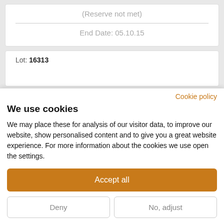(Reserve not met)
End Date: 05.10.15
Lot: 16313
Cookie policy
We use cookies
We may place these for analysis of our visitor data, to improve our website, show personalised content and to give you a great website experience. For more information about the cookies we use open the settings.
Accept all
Deny
No, adjust